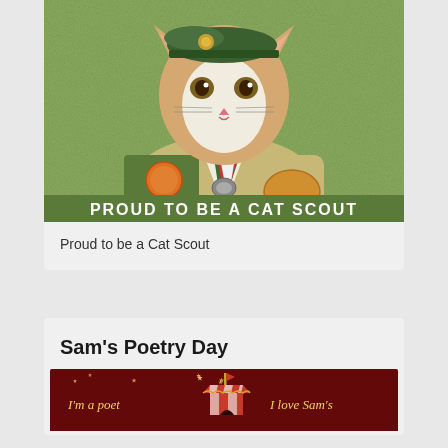[Figure (illustration): Illustrated image of a cat dressed in a Boy Scout-style uniform with badges, sash, and neckerchief. The cat wears a green beret. Text at the bottom reads 'PROUD TO BE A CAT SCOUT' on a green banner.]
Proud to be a Cat Scout
Sam's Poetry Day
[Figure (illustration): Dark red/maroon banner image with a circus tent in the center. Yellow italic text on left reads "I'm a poet" and yellow italic text on right reads "I love Sam's". Small stars are scattered around.]